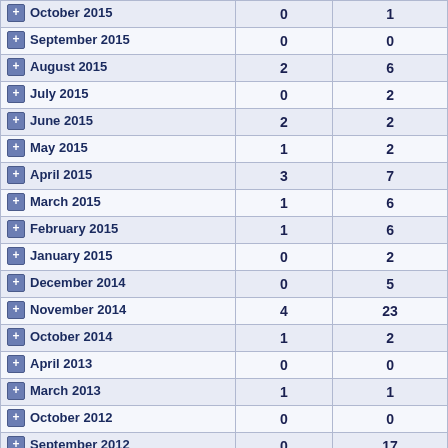| Month | Col1 | Col2 |
| --- | --- | --- |
| October 2015 | 0 | 1 |
| September 2015 | 0 | 0 |
| August 2015 | 2 | 6 |
| July 2015 | 0 | 2 |
| June 2015 | 2 | 2 |
| May 2015 | 1 | 2 |
| April 2015 | 3 | 7 |
| March 2015 | 1 | 6 |
| February 2015 | 1 | 6 |
| January 2015 | 0 | 2 |
| December 2014 | 0 | 5 |
| November 2014 | 4 | 23 |
| October 2014 | 1 | 2 |
| April 2013 | 0 | 0 |
| March 2013 | 1 | 1 |
| October 2012 | 0 | 0 |
| September 2012 | 0 | 17 |
| August 2012 | 1 | 5 |